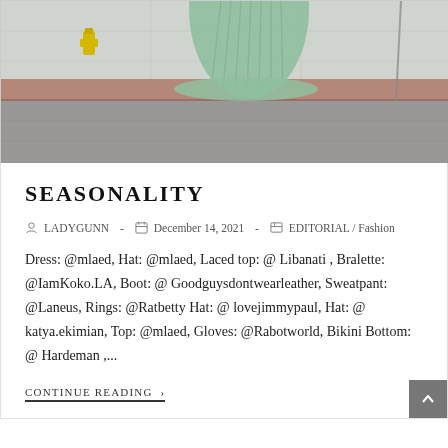[Figure (photo): Street photography showing a person in a mint/sage green pleated dress on a sidewalk, with a yellow fire hydrant and curb visible. The image is cropped showing mainly the lower portion of the outfit and the street scene.]
SEASONALITY
LADYGUNN  -  December 14, 2021  -  EDITORIAL / Fashion
Dress: @mlaed, Hat: @mlaed, Laced top: @ Libanati , Bralette: @IamKoko.LA, Boot: @ Goodguysdontwearleather, Sweatpant: @Laneus, Rings: @Ratbetty Hat: @ lovejimmypaul, Hat: @ katya.ekimian, Top: @mlaed, Gloves: @Rabotworld, Bikini Bottom: @ Hardeman ,...
CONTINUE READING ›